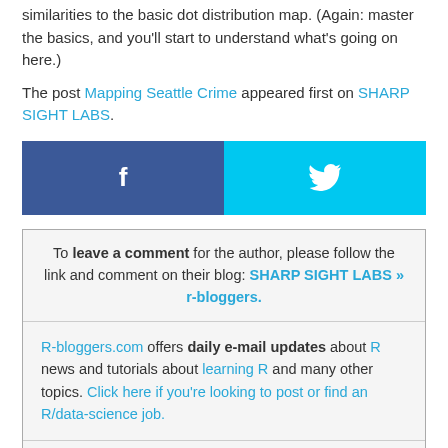similarities to the basic dot distribution map. (Again: master the basics, and you'll start to understand what's going on here.)
The post Mapping Seattle Crime appeared first on SHARP SIGHT LABS.
[Figure (other): Social sharing buttons: Facebook (dark blue) and Twitter (light blue) with icons]
To leave a comment for the author, please follow the link and comment on their blog: SHARP SIGHT LABS » r-bloggers.
R-bloggers.com offers daily e-mail updates about R news and tutorials about learning R and many other topics. Click here if you're looking to post or find an R/data-science job.
Want to share your content on R-bloggers? click here if you have a blog, or here if you don't.
January 6, 2015